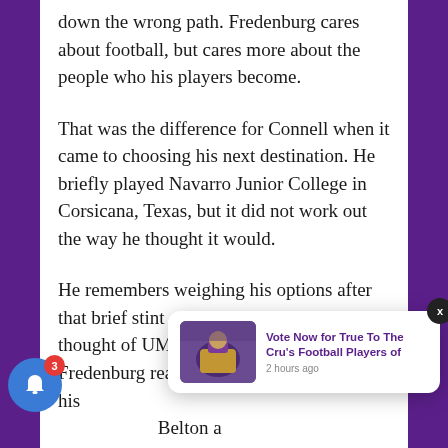down the wrong path. Fredenburg cares about football, but cares more about the people who his players become.
That was the difference for Connell when it came to choosing his next destination. He briefly played Navarro Junior College in Corsicana, Texas, but it did not work out the way he thought it would.
He remembers weighing his options after that brief stint at the JUCO level. Then he thought of UMHB. Not only had Fredenburg reached out, but his [friends from] Belton a[nd others got] involved with UMHB, and exposed him to the
[Figure (photo): Notification popup with football player image and text 'Vote Now for True To The Cru's Football Players of' posted 2 hours ago, with a blue bell notification button showing badge count 3, and a dark close X button]